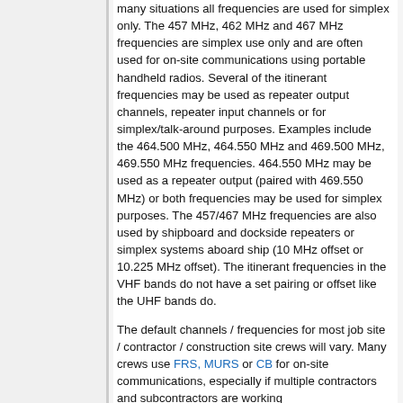many situations all frequencies are used for simplex only. The 457 MHz, 462 MHz and 467 MHz frequencies are simplex use only and are often used for on-site communications using portable handheld radios. Several of the itinerant frequencies may be used as repeater output channels, repeater input channels or for simplex/talk-around purposes. Examples include the 464.500 MHz, 464.550 MHz and 469.500 MHz, 469.550 MHz frequencies. 464.550 MHz may be used as a repeater output (paired with 469.550 MHz) or both frequencies may be used for simplex purposes. The 457/467 MHz frequencies are also used by shipboard and dockside repeaters or simplex systems aboard ship (10 MHz offset or 10.225 MHz offset). The itinerant frequencies in the VHF bands do not have a set pairing or offset like the UHF bands do.
The default channels / frequencies for most job site / contractor / construction site crews will vary. Many crews use FRS, MURS or CB for on-site communications, especially if multiple contractors and subcontractors are working